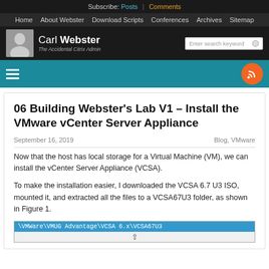Subscribe: Posts | Comments
Home  About Webster  Download Scripts  Conferences  Archives  Sitemap
[Figure (screenshot): Carl Webster blog site header with logo photo, name, tagline 'The Accidental Citrix Admin', search box, teal menu bar with hamburger icon and RSS button]
06 Building Webster's Lab V1 – Install the VMware vCenter Server Appliance
September 16, 2019    Blog, VMware
Now that the host has local storage for a Virtual Machine (VM), we can install the vCenter Server Appliance (VCSA).
To make the installation easier, I downloaded the VCSA 6.7 U3 ISO, mounted it, and extracted all the files to a VCSA67U3 folder, as shown in Figure 1.
[Figure (screenshot): Windows Explorer address bar showing path: \VMWare\VMUG Advantage\VCSA 6.x\VCSA67U3 highlighted in blue]